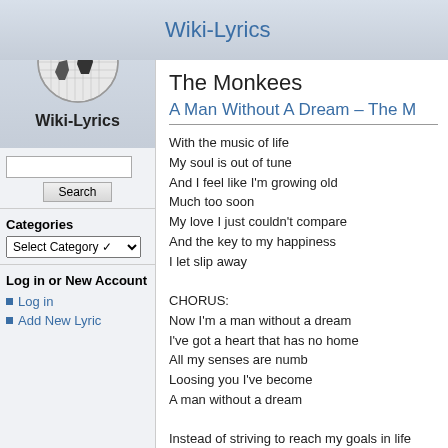Wiki-Lyrics
[Figure (illustration): Globe made of puzzle pieces, black and white]
Wiki-Lyrics
Search box and button
Categories
Select Category dropdown
Log in or New Account
Log in
Add New Lyric
The Monkees
A Man Without A Dream – The M
With the music of life
My soul is out of tune
And I feel like I'm growing old
Much too soon
My love I just couldn't compare
And the key to my happiness
I let slip away

CHORUS:
Now I'm a man without a dream
I've got a heart that has no home
All my senses are numb
Loosing you I've become
A man without a dream

Instead of striving to reach my goals in life
I got distracted with mean, endless games
For just an illusion I traded love that was real
Now my eyes cannot see and my heart cannot f